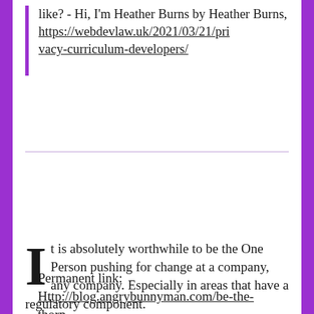like? - Hi, I'm Heather Burns by Heather Burns, https://webdevlaw.uk/2021/03/21/privacy-curriculum-developers/
It is absolutely worthwhile to be the One Person pushing for change at a company, any company. Especially in areas that have a regulatory component.
Being the thorn in the side of the company can move mountains. Whether it can wake that mountain up to move itself is a whole other thing…
Permanent link: Http://blog.angrybunnyman.com/be-the-thorn